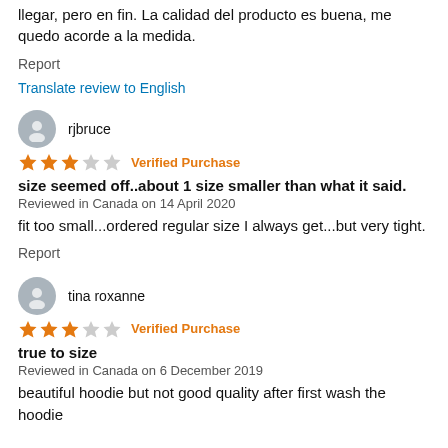llegar, pero en fin. La calidad del producto es buena, me quedo acorde a la medida.
Report
Translate review to English
rjbruce
★★★☆☆ Verified Purchase
size seemed off..about 1 size smaller than what it said.
Reviewed in Canada on 14 April 2020
fit too small...ordered regular size I always get...but very tight.
Report
tina roxanne
★★★☆☆ Verified Purchase
true to size
Reviewed in Canada on 6 December 2019
beautiful hoodie but not good quality after first wash the hoodie